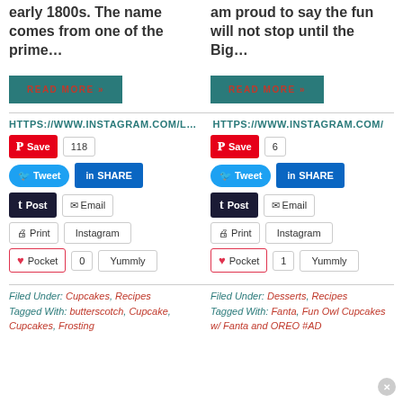early 1800s. The name comes from one of the prime…
am proud to say the fun will not stop until the Big…
READ MORE »
READ MORE »
HTTPS://WWW.INSTAGRAM.COM/L… HTTPS://WWW.INSTAGRAM.COM/
Save 118 | Tweet | SHARE | Post | Email | Print | Instagram | Pocket 0 | Yummly
Save 6 | Tweet | SHARE | Post | Email | Print | Instagram | Pocket 1 | Yummly
Filed Under: Cupcakes, Recipes Tagged With: butterscotch, Cupcake, Cupcakes, Frosting
Filed Under: Desserts, Recipes Tagged With: Fanta, Fun Owl Cupcakes w/ Fanta and OREO #AD